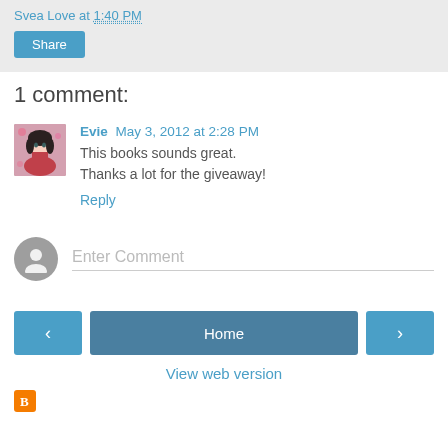Svea Love at 1:40 PM
Share
1 comment:
Evie May 3, 2012 at 2:28 PM
This books sounds great.
Thanks a lot for the giveaway!
Reply
Enter Comment
Home
View web version